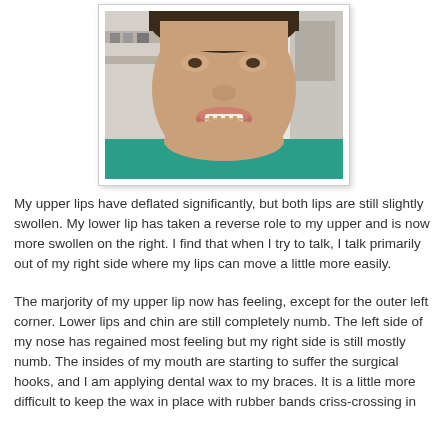[Figure (photo): Close-up photo of a young person's face showing their mouth/lips area, wearing a teal/green shirt, with braces visible on their teeth.]
My upper lips have deflated significantly, but both lips are still slightly swollen. My lower lip has taken a reverse role to my upper and is now more swollen on the right. I find that when I try to talk, I talk primarily out of my right side where my lips can move a little more easily.
The marjority of my upper lip now has feeling, except for the outer left corner. Lower lips and chin are still completely numb. The left side of my nose has regained most feeling but my right side is still mostly numb. The insides of my mouth are starting to suffer the surgical hooks, and I am applying dental wax to my braces. It is a little more difficult to keep the wax in place with rubber bands criss-crossing in